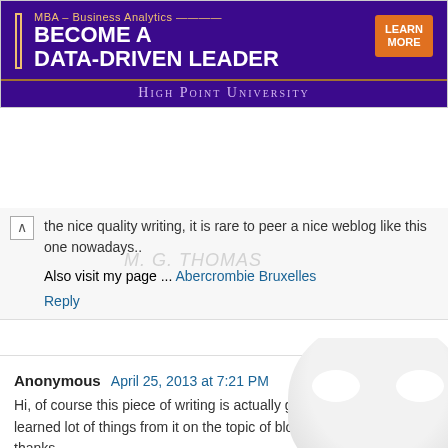[Figure (screenshot): Advertisement banner for High Point University MBA – Business Analytics program. Purple background with text 'MBA – Business Analytics BECOME A DATA-DRIVEN LEADER' and an orange 'LEARN MORE' button. High Point University logo at bottom.]
the nice quality writing, it is rare to peer a nice weblog like this one nowadays..
Also visit my page ... Abercrombie Bruxelles
Reply
Anonymous April 25, 2013 at 7:21 PM
Hi, of course this piece of writing is actually good and I have learned lot of things from it on the topic of blogging. thanks.
Take a look at my site: Air Max
Reply